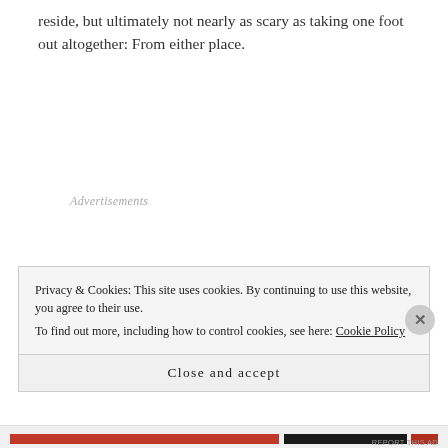reside, but ultimately not nearly as scary as taking one foot out altogether: From either place.
Advertisements
Privacy & Cookies: This site uses cookies. By continuing to use this website, you agree to their use.
To find out more, including how to control cookies, see here: Cookie Policy
Close and accept